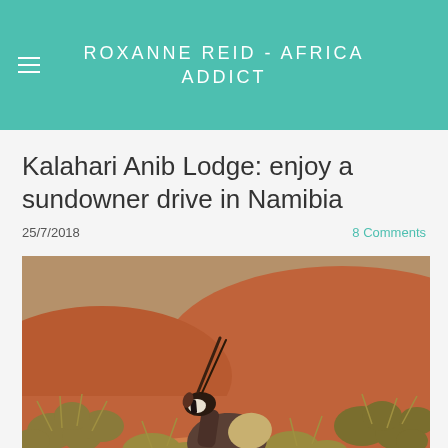ROXANNE REID - AFRICA ADDICT
Kalahari Anib Lodge: enjoy a sundowner drive in Namibia
25/7/2018
8 Comments
[Figure (photo): An oryx (gemsbok) standing in the Kalahari desert landscape with red sand dunes and dry grass vegetation]